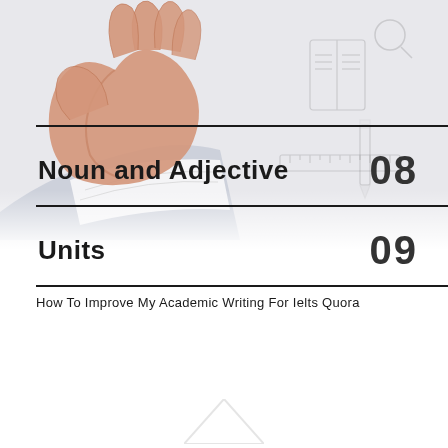[Figure (illustration): Hand holding a pen writing, with educational icons and doodles in the background (books, pencils, magnifying glass, etc.) in a greyscale/light sketch style]
Noun and Adjective
08
Units
09
How To Improve My Academic Writing For Ielts Quora
[Figure (logo): Partial triangular/chevron logo shape at the bottom center of the page]